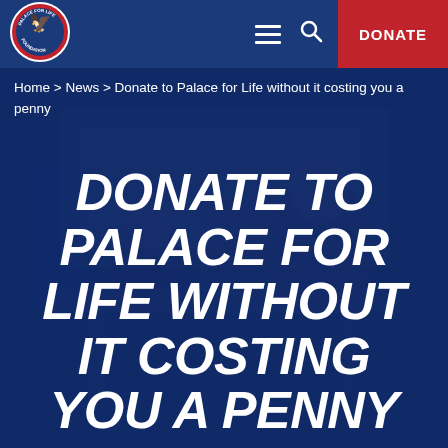[Figure (logo): Palace for Life Foundation circular logo with eagle emblem, red border with white text]
DONATE
Home > News > Donate to Palace for Life without it costing you a penny
[Figure (photo): Blurred background photo of people in an indoor setting, overlaid with dark blue tint]
DONATE TO PALACE FOR LIFE WITHOUT IT COSTING YOU A PENNY